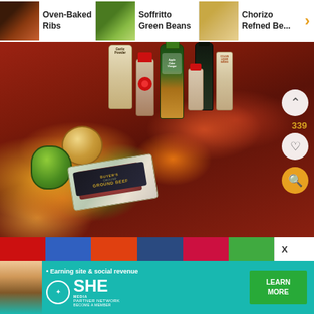[Figure (screenshot): Website recipe navigation strip showing thumbnails and titles: Oven-Baked Ribs, Soffritto Green Beans, Chorizo Refried Beans with a right-arrow navigation control]
Oven-Baked Ribs
Soffritto Green Beans
Chorizo Refried Be...
[Figure (photo): Overhead photo of cooking ingredients in a red pot/pan: ground beef package, onion, green bell pepper, garlic powder bottle, Lawry's seasoned salt, apple cider vinegar bottle, dark soy sauce bottle, Colgin liquid smoke, and small spice bottle]
[Figure (screenshot): Social sharing bar with colored buttons (Pinterest red, Facebook blue, StumbleUpon orange, Tumblr navy, Email pink/red, More green) and an X close button]
[Figure (screenshot): SHE Partner Network advertisement banner on teal background with woman photo, bullet point saying 'Earning site & social revenue', SHE Media logo, and 'LEARN MORE' green CTA button]